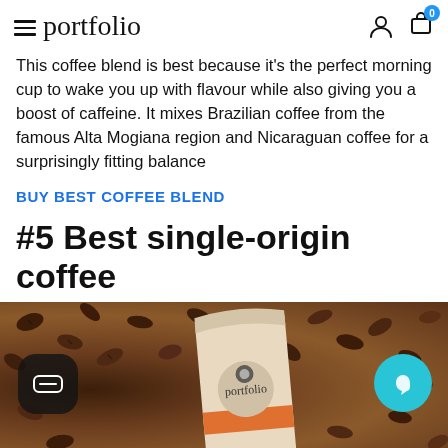≡portfolio  [user icon] [cart icon] 0
This coffee blend is best because it's the perfect morning cup to wake you up with flavour while also giving you a boost of caffeine. It mixes Brazilian coffee from the famous Alta Mogiana region and Nicaraguan coffee for a surprisingly fitting balance
BUY BEST COFFEE BLEND
#5 Best single-origin coffee
[Figure (photo): Photo of a coffee bag with Portfolio logo lying on roasted coffee beans, with a dark rounded-rectangle chat bubble icon on the left and a cyan circle icon on the right]